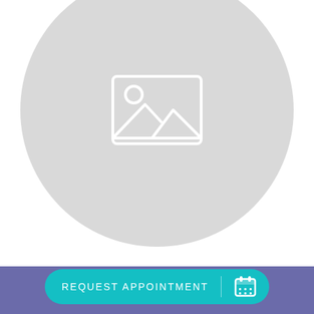[Figure (illustration): Large light gray circle placeholder image with a white image placeholder icon (rectangle with mountain/landscape and sun icon) centered in the circle. The circle is centered horizontally and positioned in the upper portion of the page.]
REQUEST APPOINTMENT